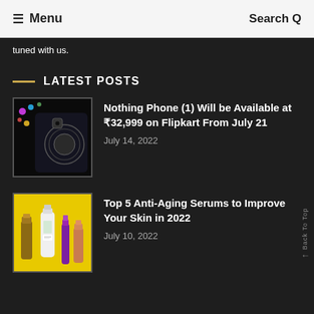≡ Menu   Search Q
tuned with us.
LATEST POSTS
[Figure (photo): Photo of Nothing Phone (1) showing its transparent back with wireless charging coil and LED lights]
Nothing Phone (1) Will be Available at ₹32,999 on Flipkart From July 21
July 14, 2022
[Figure (photo): Photo of anti-aging serum products on a yellow background including tubes and bottles]
Top 5 Anti-Aging Serums to Improve Your Skin in 2022
July 10, 2022